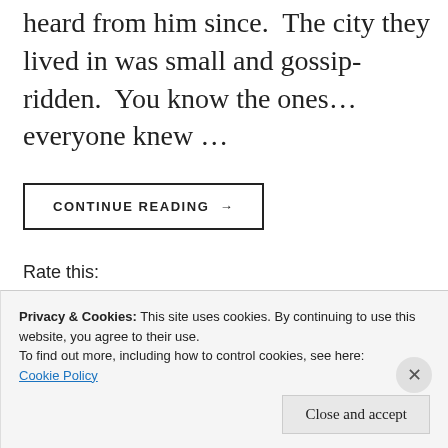heard from him since.  The city they lived in was small and gossip-ridden.  You know the ones...everyone knew ...
CONTINUE READING →
Rate this:
Rate This
Privacy & Cookies: This site uses cookies. By continuing to use this website, you agree to their use.
To find out more, including how to control cookies, see here:
Cookie Policy
Close and accept